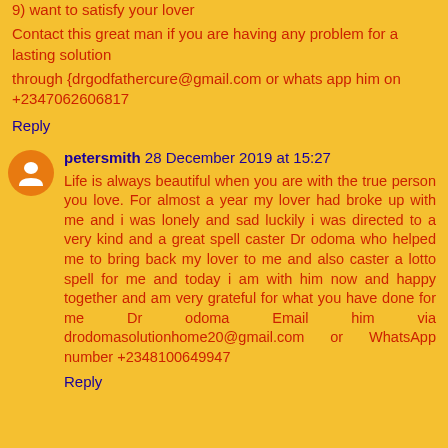9) want to satisfy your lover
Contact this great man if you are having any problem for a lasting solution
through {drgodfathercure@gmail.com or whats app him on +2347062606817
Reply
petersmith 28 December 2019 at 15:27
Life is always beautiful when you are with the true person you love. For almost a year my lover had broke up with me and i was lonely and sad luckily i was directed to a very kind and a great spell caster Dr odoma who helped me to bring back my lover to me and also caster a lotto spell for me and today i am with him now and happy together and am very grateful for what you have done for me Dr odoma Email him via drodomasolutionhome20@gmail.com or WhatsApp number +2348100649947
Reply